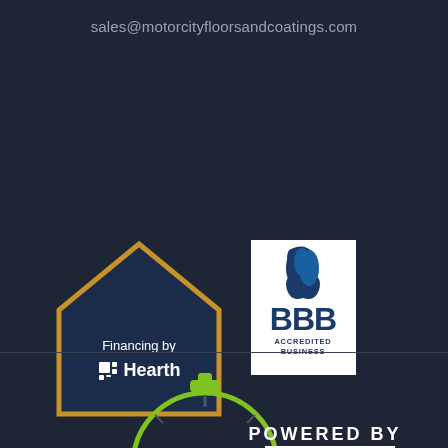sales@motorcityfloorsandcoatings.com
[Figure (logo): Financing by Hearth logo — house-shaped badge with dark blue background and gold border, white text 'Financing by Hearth' with a grid icon]
[Figure (logo): BBB Accredited Business logo — white background with blue flame/ribbon icon and 'BBB ACCREDITED BUSINESS' text]
[Figure (logo): Powered by Mr. Coatings logo — green stopwatch/timer circle with 'POWERED BY' above and 'MR.COATINGS' in red and white text]